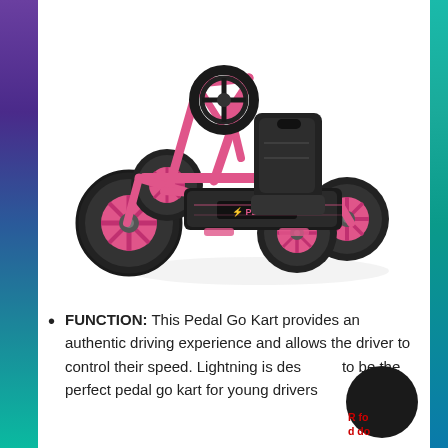[Figure (photo): Pink and black pedal go-kart with four large black rubber tires, pink metal frame, black molded seat, and black steering wheel, photographed on white background.]
FUNCTION: This Pedal Go Kart provides an authentic driving experience and allows the driver to control their speed. Lightning is designed to be the perfect pedal go kart for young drivers